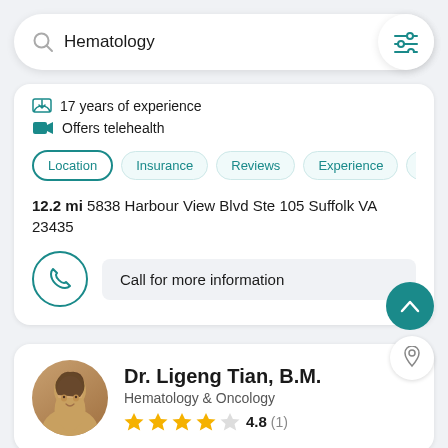Hematology
Map
17 years of experience
Offers telehealth
Location | Insurance | Reviews | Experience | Abo
12.2 mi 5838 Harbour View Blvd Ste 105 Suffolk VA 23435
Call for more information
Dr. Ligeng Tian, B.M.
Hematology & Oncology
4.8 (1)